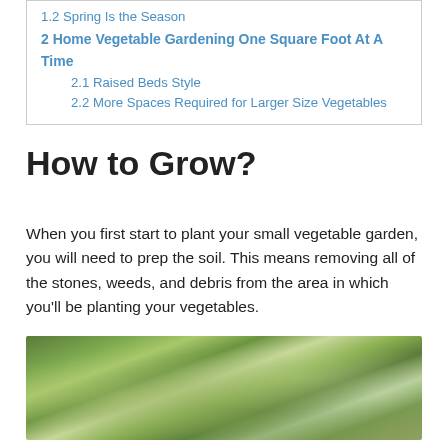1.2 Spring Is the Season
2 Home Vegetable Gardening One Square Foot At A Time
2.1 Raised Beds Style
2.2 More Spaces Required for Larger Size Vegetables
How to Grow?
When you first start to plant your small vegetable garden, you will need to prep the soil. This means removing all of the stones, weeds, and debris from the area in which you'll be planting your vegetables.
[Figure (photo): Close-up photo of green vegetable seedlings or plants growing in soil, with leaves in various shades of green against a blurred brown soil background.]